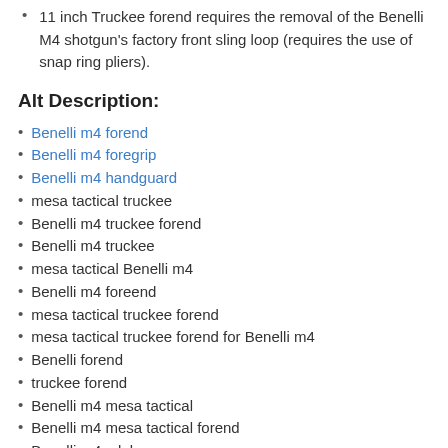11 inch Truckee forend requires the removal of the Benelli M4 shotgun's factory front sling loop (requires the use of snap ring pliers).
Alt Description:
Benelli m4 forend
Benelli m4 foregrip
Benelli m4 handguard
mesa tactical truckee
Benelli m4 truckee forend
Benelli m4 truckee
mesa tactical Benelli m4
Benelli m4 foreend
mesa tactical truckee forend
mesa tactical truckee forend for Benelli m4
Benelli forend
truckee forend
Benelli m4 mesa tactical
Benelli m4 mesa tactical forend
Benelli m4 mlok
Benelli m4 mlok handguard